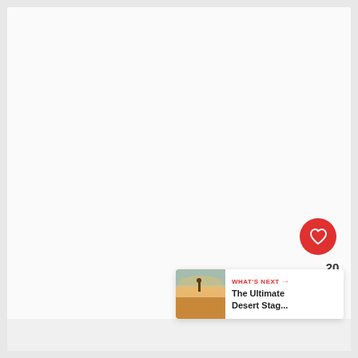[Figure (other): Large nearly blank whitish content area filling most of the page, representing a screenshot of a webpage with UI overlay elements including a red heart/like button, a share button, a count badge showing 20, and a 'What's Next' recommendation panel in the lower right corner.]
20
WHAT'S NEXT → The Ultimate Desert Stag...